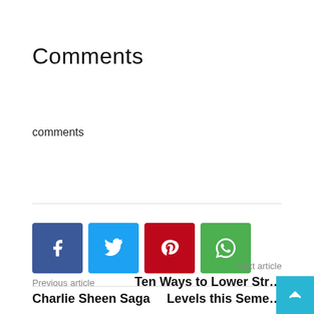Comments
comments
[Figure (other): Social share buttons: Facebook, Twitter, Pinterest, WhatsApp]
Previous article
Charlie Sheen Saga
Next article
Ten Ways to Lower Str… Levels this Seme…